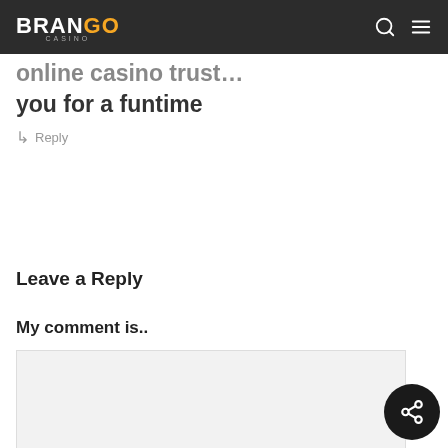Brango Casino — online casino trust
made to Brango, the only online casino trust… you for a funtime
↳ Reply
Leave a Reply
My comment is..